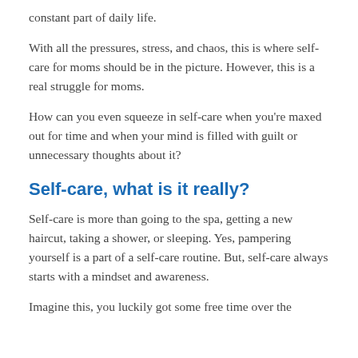constant part of daily life.
With all the pressures, stress, and chaos, this is where self-care for moms should be in the picture. However, this is a real struggle for moms.
How can you even squeeze in self-care when you're maxed out for time and when your mind is filled with guilt or unnecessary thoughts about it?
Self-care, what is it really?
Self-care is more than going to the spa, getting a new haircut, taking a shower, or sleeping. Yes, pampering yourself is a part of a self-care routine. But, self-care always starts with a mindset and awareness.
Imagine this, you luckily got some free time over the